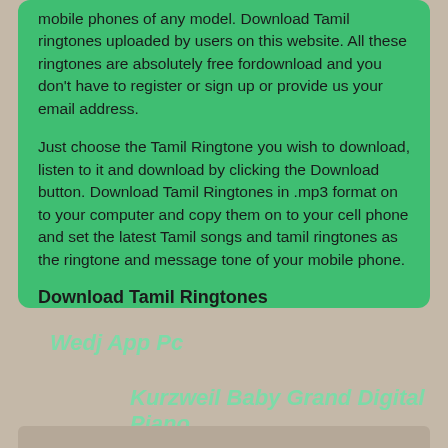mobile phones of any model. Download Tamil ringtones uploaded by users on this website. All these ringtones are absolutely free fordownload and you don't have to register or sign up or provide us your email address.
Just choose the Tamil Ringtone you wish to download, listen to it and download by clicking the Download button. Download Tamil Ringtones in .mp3 format on to your computer and copy them on to your cell phone and set the latest Tamil songs and tamil ringtones as the ringtone and message tone of your mobile phone.
Download Tamil Ringtones
Wedj App Pc
Kurzweil Baby Grand Digital Piano